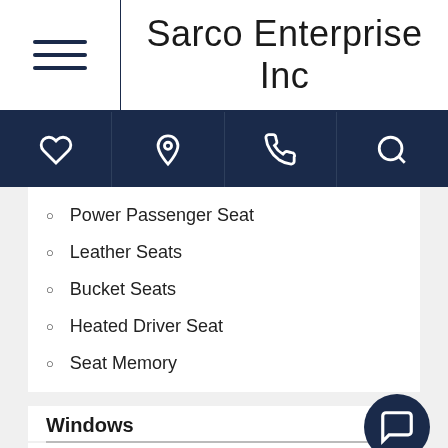Sarco Enterprise Inc
Power Passenger Seat
Leather Seats
Bucket Seats
Heated Driver Seat
Seat Memory
Windows
Power Windows
Sound System
AM/FM Stereo